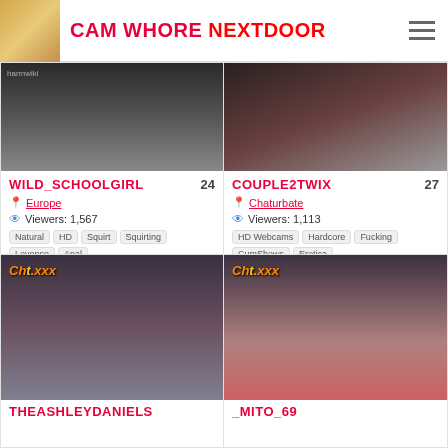CAM WHORE NEXTDOOR
[Figure (screenshot): Thumbnail image for WILD_SCHOOLGIRL cam profile]
WILD_SCHOOLGIRL 24
Europe
Viewers: 1,567
Natural HD Squirt Squirting Lovense Anal
[Figure (screenshot): Thumbnail image for COUPLE2TWIX cam profile]
COUPLE2TWIX 27
Chaturbate
Viewers: 1,113
HD Webcams Hardcore Fucking CumShows Erotica
[Figure (screenshot): Thumbnail image for THEASHLEYDANIELS cam profile]
THEASHLEYDANIELS
[Figure (screenshot): Thumbnail image for _MITO_69 cam profile]
_MITO_69